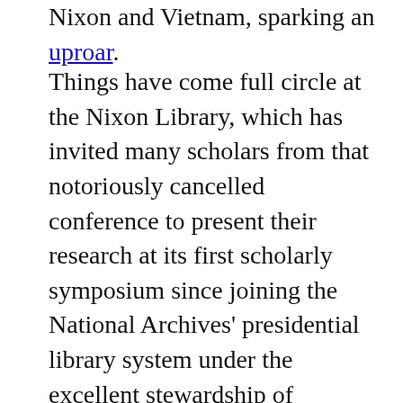Nixon and Vietnam, sparking an uproar.
Things have come full circle at the Nixon Library, which has invited many scholars from that notoriously cancelled conference to present their research at its first scholarly symposium since joining the National Archives' presidential library system under the excellent stewardship of director Timothy Naftali.  It's not a moment too soon for the public to hear from scholars like Jeffrey Kimball, who has done more than any other historian to bring to light Nixon's strategy of postponing, rather than preventing, Communist victory. The temptation for politicians today to